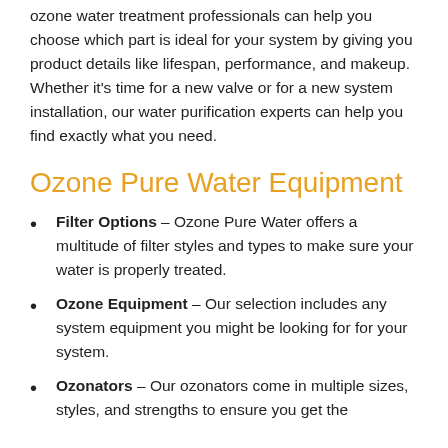ozone water treatment professionals can help you choose which part is ideal for your system by giving you product details like lifespan, performance, and makeup. Whether it's time for a new valve or for a new system installation, our water purification experts can help you find exactly what you need.
Ozone Pure Water Equipment
Filter Options – Ozone Pure Water offers a multitude of filter styles and types to make sure your water is properly treated.
Ozone Equipment – Our selection includes any system equipment you might be looking for for your system.
Ozonators – Our ozonators come in multiple sizes, styles, and strengths to ensure you get the